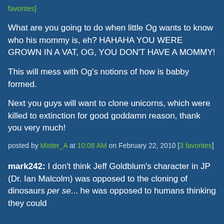favorites]
What are you going to do when little Og wants to know who his mommy is, eh? HAHAHA YOU WERE GROWN IN A VAT, OG, YOU DON'T HAVE A MOMMY!
This will mess with Og's notions of how is babby formed.
Next you guys will want to clone unicorns, which were killed to extinction for good goddamn reason, thank you very much!
posted by Mister_A at 10:08 AM on February 22, 2010 [3 favorites]
mark242: I don't think Jeff Goldblum's character in JP (Dr. Ian Malcolm) was opposed to the cloning of dinosaurs per se... he was opposed to humans thinking they could